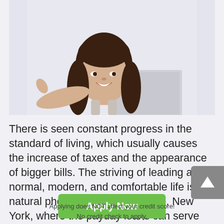[Figure (photo): Young woman with long brown hair smiling, pointing with thumb, holding a laptop. White background within a light gray/blue panel.]
There is seen constant progress in the standard of living, which usually causes the increase of taxes and the appearance of bigger bills. The striving of leading a normal, modern, and comfortable life is a natural phenomenon in Willsboro, New York, where the payday loans can serve as a convenient solution. It is a modern problem solving, capable of helping Willsboro in New York, to modernize their way of life, by including more comfortable elements like owning your car or living in a more luxurious and spacious house.
Apply Now
Applying does NOT affect your credit score!
No credit check to apply.